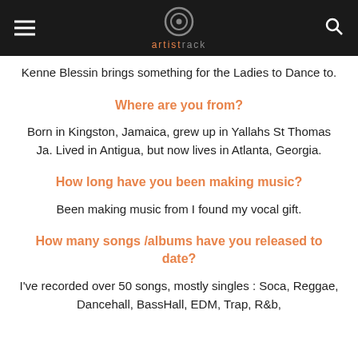artistsack
Kenne Blessin brings something for the Ladies to Dance to.
Where are you from?
Born in Kingston, Jamaica, grew up in Yallahs St Thomas Ja. Lived in Antigua, but now lives in Atlanta, Georgia.
How long have you been making music?
Been making music from I found my vocal gift.
How many songs /albums have you released to date?
I've recorded over 50 songs, mostly singles : Soca, Reggae, Dancehall, BassHall, EDM, Trap, R&b,